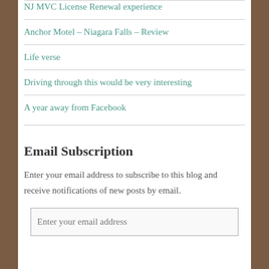NJ MVC License Renewal experience
Anchor Motel – Niagara Falls – Review
Life verse
Driving through this would be very interesting
A year away from Facebook
Email Subscription
Enter your email address to subscribe to this blog and receive notifications of new posts by email.
Enter your email address